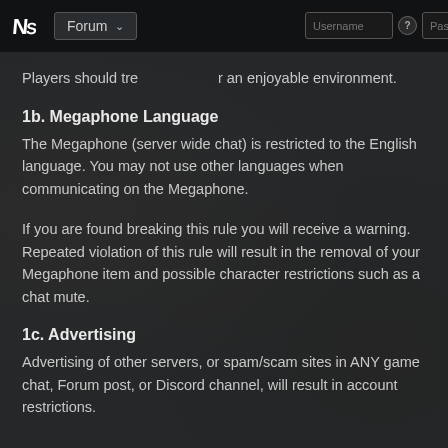Forum
Players should treat r an enjoyable environment.
1b. Megaphone Language
The Megaphone (server wide chat) is restricted to the English language. You may not use other languages when communicating on the Megaphone.
If you are found breaking this rule you will receive a warning. Repeated violation of this rule will result in the removal of your Megaphone item and possible character restrictions such as a chat mute.
1c. Advertising
Advertising of other servers, or spam/scam sites in ANY game chat, Forum post, or Discord channel, will result in account restrictions.